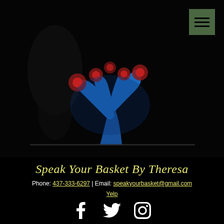[Figure (logo): Business logo showing a stylized blue hand/tree with red flowers on a dark background, with a silhouette figure in the background]
Speak Your Basket By Theresa
Phone: 437-333-6297 | Email: speakyourbasket@gmail.com
Yelp
[Figure (infographic): Social media icons: Facebook, Twitter, Instagram]